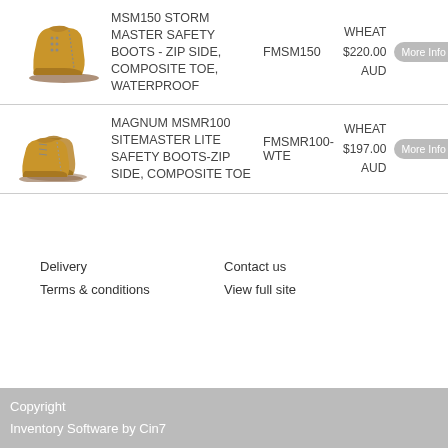[Figure (photo): Wheat/tan colored high-top safety boot, side zip]
MSM150 STORM MASTER SAFETY BOOTS - ZIP SIDE, COMPOSITE TOE, WATERPROOF
FMSM150
WHEAT
$220.00 AUD
[Figure (photo): Wheat/tan colored low-top safety boots pair]
MAGNUM MSMR100 SITEMASTER LITE SAFETY BOOTS-ZIP SIDE, COMPOSITE TOE
FMSMR100-WTE
WHEAT
$197.00 AUD
Delivery
Terms & conditions
Contact us
View full site
Copyright
Inventory Software by Cin7